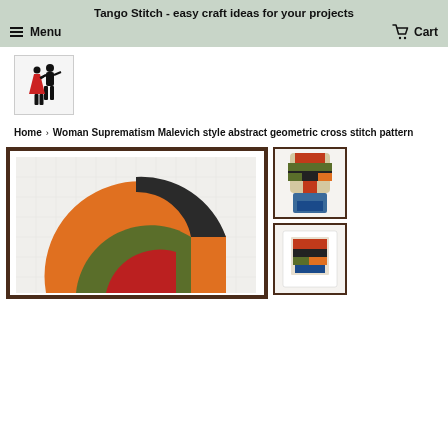Tango Stitch - easy craft ideas for your projects
Menu
Cart
[Figure (logo): Tango Stitch logo: silhouette of a dancing couple, woman in red dress, man in black, on white/light grid background]
Home › Woman Suprematism Malevich style abstract geometric cross stitch pattern
[Figure (photo): Large framed cross stitch pattern showing a Malevich Suprematism style abstract geometric composition: circular arcs in orange, dark grey/black, olive green, and red on white grid, in dark brown frame]
[Figure (photo): Thumbnail of completed cross stitch showing Malevich style abstract face/figure in geometric shapes: red, green, dark, orange, blue tones]
[Figure (photo): Second thumbnail, partially visible, showing another view or variant of the cross stitch pattern]